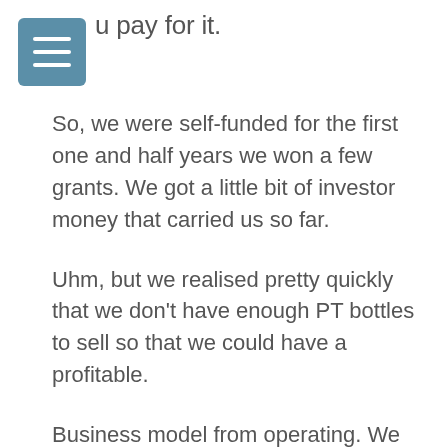u pay for it.
So, we were self-funded for the first one and half years we won a few grants. We got a little bit of investor money that carried us so far.
Uhm, but we realised pretty quickly that we don't have enough PT bottles to sell so that we could have a profitable.
Business model from operating. We are a for profit company so we are a social enterprise, but we are not.
We are not looking for donations. We want to offer a service that provides benefits for the environment and